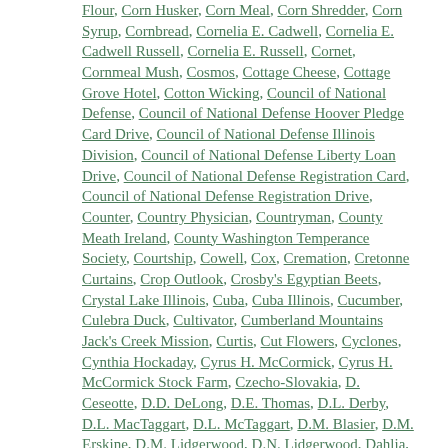Flour, Corn Husker, Corn Meal, Corn Shredder, Corn Syrup, Cornbread, Cornelia E. Cadwell, Cornelia E. Cadwell Russell, Cornelia E. Russell, Cornet, Cornmeal Mush, Cosmos, Cottage Cheese, Cottage Grove Hotel, Cotton Wicking, Council of National Defense, Council of National Defense Hoover Pledge Card Drive, Council of National Defense Illinois Division, Council of National Defense Liberty Loan Drive, Council of National Defense Registration Card, Council of National Defense Registration Drive, Counter, Country Physician, Countryman, County Meath Ireland, County Washington Temperance Society, Courtship, Cowell, Cox, Cremation, Cretonne Curtains, Crop Outlook, Crosby's Egyptian Beets, Crystal Lake Illinois, Cuba, Cuba Illinois, Cucumber, Culebra Duck, Cultivator, Cumberland Mountains Jack's Creek Mission, Curtis, Cut Flowers, Cyclones, Cynthia Hockaday, Cyrus H. McCormick, Cyrus H. McCormick Stock Farm, Czecho-Slovakia, D. Ceseotte, D.D. DeLong, D.E. Thomas, D.L. Derby, D.L. MacTaggart, D.L. McTaggart, D.M. Blasier, D.M. Erskine, D.M. Lidgerwood, D.N. Lidgerwood, Dahlia, Dahlias, Daily Democrat, Daily News Band, Daily Papers, Dairy Companies, Daisies, Daisy